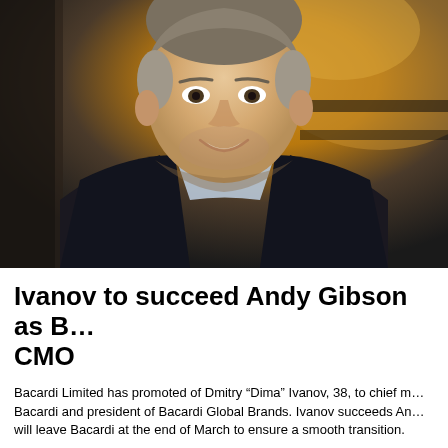[Figure (photo): Professional headshot of Dmitry 'Dima' Ivanov, a man in his late 30s wearing a dark suit jacket and light blue checked shirt, smiling, photographed in a warm-toned interior setting]
Ivanov to succeed Andy Gibson as Bacardi CMO
Bacardi Limited has promoted of Dmitry "Dima" Ivanov, 38, to chief marketing officer of Bacardi and president of Bacardi Global Brands. Ivanov succeeds Andy Gibson, who will leave Bacardi at the end of March to ensure a smooth transition.
In these roles, Ivanov is responsible for the global marketing organisation and building the Company's internationally known portfolio of premium spirits brands, including building brand equity, architecture, positioning, advertising, packaging, and strategy — with a focus on innovation. He also will serve as a member of the Bacardi Global Leadership Team.